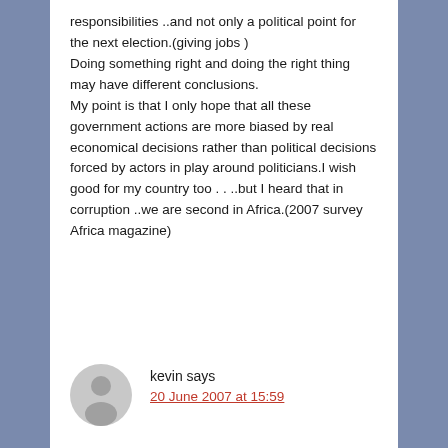responsibilities ..and not only a political point for the next election.(giving jobs )
Doing something right and doing the right thing may have different conclusions.
My point is that I only hope that all these government actions are more biased by real economical decisions rather than political decisions forced by actors in play around politicians.I wish good for my country too . . ..but I heard that in corruption ..we are second in Africa.(2007 survey Africa magazine)
kevin says
20 June 2007 at 15:59